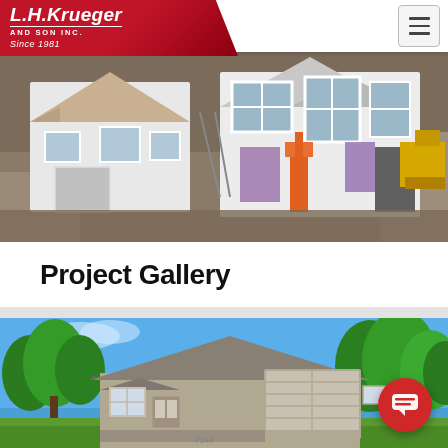[Figure (logo): L.H. Krueger and Son Inc. Since 1981 company logo on red diagonal background with hamburger menu icon]
[Figure (photo): Aerial drone view of houses under construction with exposed framing, white siding, and construction equipment including orange lift and yellow excavator]
Project Gallery
[Figure (photo): Street-level photo of a completed ranch-style home with gray siding, asphalt shingle roof, attached garage, and mature trees against blue sky]